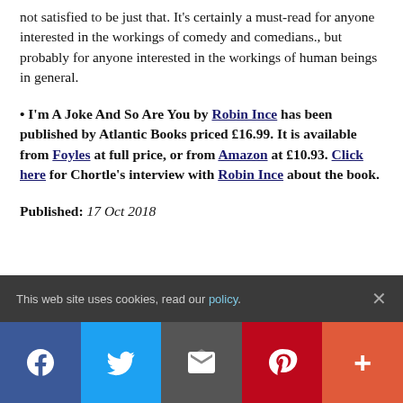not satisfied to be just that. It's certainly a must-read for anyone interested in the workings of comedy and comedians., but probably for anyone interested in the workings of human beings in general.
I'm A Joke And So Are You by Robin Ince has been published by Atlantic Books priced £16.99. It is available from Foyles at full price, or from Amazon at £10.93. Click here for Chortle's interview with Robin Ince about the book.
Published: 17 Oct 2018
This web site uses cookies, read our policy.